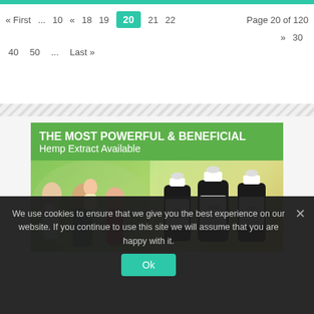« First ... 10 « 18 19 20 21 22 Page 20 of 120 » 30 40 50 ... Last »
[Figure (photo): Advertisement banner for CBD Pure hemp extract showing family and product bottles on green background with text 'THE MOST POWERFUL & BENEFICIAL Hemp Extract Available']
We use cookies to ensure that we give you the best experience on our website. If you continue to use this site we will assume that you are happy with it.